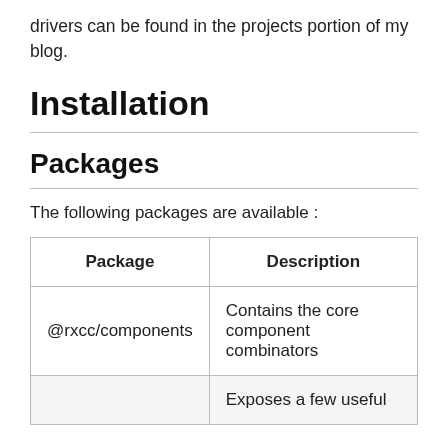drivers can be found in the projects portion of my blog.
Installation
Packages
The following packages are available :
| Package | Description |
| --- | --- |
| @rxcc/components | Contains the core component combinators |
|  | Exposes a few useful |